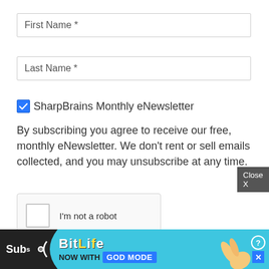First Name *
Last Name *
SharpBrains Monthly eNewsletter
By subscribing you agree to receive our free, monthly eNewsletter. We don't rent or sell emails collected, and you may unsubscribe at any time.
[Figure (screenshot): reCAPTCHA widget with 'I'm not a robot' checkbox, reCAPTCHA logo, Privacy and Terms links]
Close X
[Figure (screenshot): Advertisement banner: 'Subs' button on black background, wave graphic, BitLife logo with yellow text, 'NOW WITH GOD MODE' text, hand pointing graphic, help and close icons]